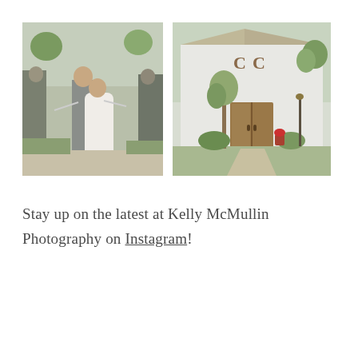[Figure (photo): Two side-by-side wedding photos: left shows a bride and groom walking through a celebratory crowd of guests outdoors; right shows a white barn venue with 'CC' marquee letters above wooden double doors, surrounded by greenery and a small tree in front.]
Stay up on the latest at Kelly McMullin Photography on Instagram!